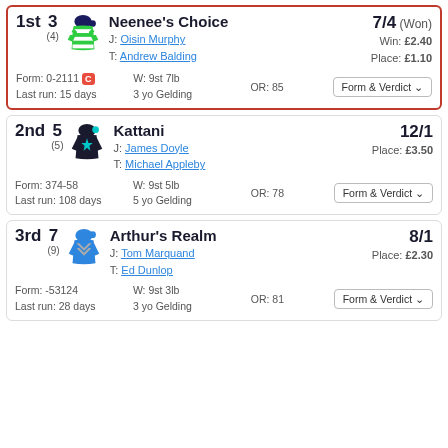1st | 3 | (4) | Neenee's Choice | J: Oisin Murphy | T: Andrew Balding | 7/4 (Won) | Win: £2.40 | Place: £1.10 | Form: 0-2111 C | Last run: 15 days | W: 9st 7lb | OR: 85 | 3 yo Gelding | Form & Verdict
2nd | 5 | (5) | Kattani | J: James Doyle | T: Michael Appleby | 12/1 | Place: £3.50 | Form: 374-58 | Last run: 108 days | W: 9st 5lb | OR: 78 | 5 yo Gelding | Form & Verdict
3rd | 7 | (9) | Arthur's Realm | J: Tom Marquand | T: Ed Dunlop | 8/1 | Place: £2.30 | Form: -53124 | Last run: 28 days | W: 9st 3lb | OR: 81 | 3 yo Gelding | Form & Verdict